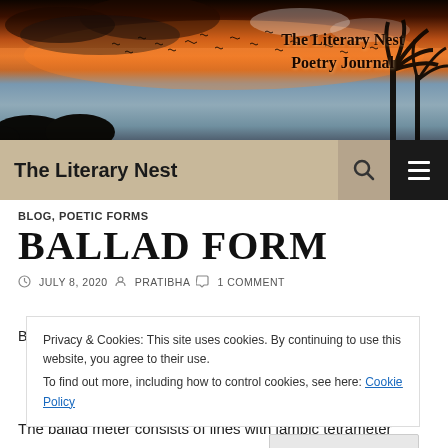[Figure (photo): Sunset/dusk sky with orange and blue tones, silhouettes of trees and birds flying, banner image for The Literary Nest Poetry Journal website]
The Literary Nest Poetry Journal
The Literary Nest
BLOG, POETIC FORMS
BALLAD FORM
JULY 8, 2020   PRATIBHA   1 COMMENT
Privacy & Cookies: This site uses cookies. By continuing to use this website, you agree to their use.
To find out more, including how to control cookies, see here: Cookie Policy
The ballad meter consists of lines with iambic tetrameter